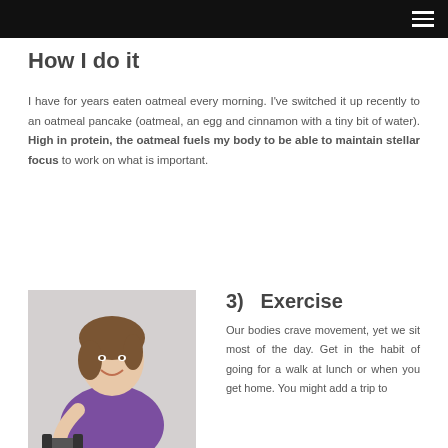How I do it
I have for years eaten oatmeal every morning. I've switched it up recently to an oatmeal pancake (oatmeal, an egg and cinnamon with a tiny bit of water). High in protein, the oatmeal fuels my body to be able to maintain stellar focus to work on what is important.
[Figure (photo): Woman in purple athletic wear smiling and holding a dumbbell]
3)  Exercise
Our bodies crave movement, yet we sit most of the day. Get in the habit of going for a walk at lunch or when you get home. You might add a trip to